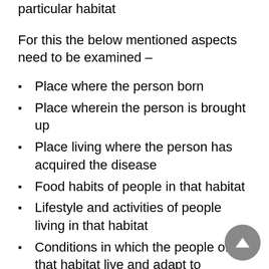d. To obtain thorough knowledge of the pattern in a particular habitat
For this the below mentioned aspects need to be examined –
Place where the person born
Place wherein the person is brought up
Place living where the person has acquired the disease
Food habits of people in that habitat
Lifestyle and activities of people living in that habitat
Conditions in which the people of that habitat live and adapt to
Strength and endurance of people living in that